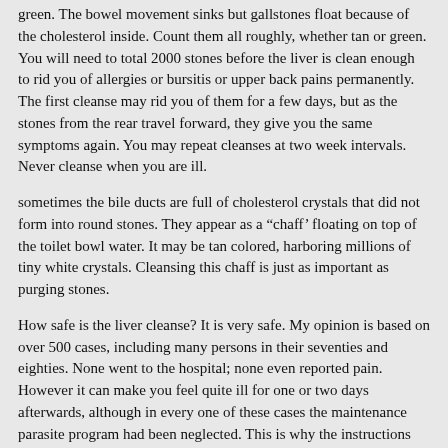green. The bowel movement sinks but gallstones float because of the cholesterol inside. Count them all roughly, whether tan or green. You will need to total 2000 stones before the liver is clean enough to rid you of allergies or bursitis or upper back pains permanently. The first cleanse may rid you of them for a few days, but as the stones from the rear travel forward, they give you the same symptoms again. You may repeat cleanses at two week intervals. Never cleanse when you are ill.
sometimes the bile ducts are full of cholesterol crystals that did not form into round stones. They appear as a “chaff’ floating on top of the toilet bowl water. It may be tan colored, harboring millions of tiny white crystals. Cleansing this chaff is just as important as purging stones.
How safe is the liver cleanse? It is very safe. My opinion is based on over 500 cases, including many persons in their seventies and eighties. None went to the hospital; none even reported pain. However it can make you feel quite ill for one or two days afterwards, although in every one of these cases the maintenance parasite program had been neglected. This is why the instructions direct you to complete the parasite and kidney rinse programs first.
Календарь
Сентябрь 2022